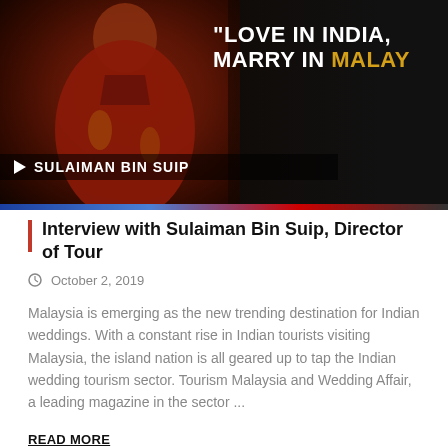[Figure (screenshot): Video thumbnail showing a man in a red patterned shirt against a dark background. Text overlay reads: "LOVE IN INDIA, MARRY IN MALAY" and speaker name 'SULAIMAN BIN SUIP' displayed at lower left with a play arrow icon.]
Interview with Sulaiman Bin Suip, Director of Tour
October 2, 2019
Malaysia is emerging as the new trending destination for Indian weddings. With a constant rise in Indian tourists visiting Malaysia, the island nation is all geared up to tap the Indian wedding tourism sector. Tourism Malaysia and Wedding Affair, a leading magazine in the sector ...
READ MORE